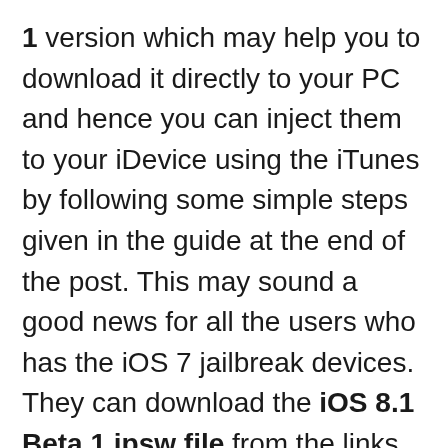1 version which may help you to download it directly to your PC and hence you can inject them to your iDevice using the iTunes by following some simple steps given in the guide at the end of the post. This may sound a good news for all the users who has the iOS 7 jailbreak devices. They can download the iOS 8.1 Beta 1 ipsw file from the links and can update their device accordingly.
Keep in mind that all the links given below are the leaked files from the iOS developer site. As we do not host any of the ipsw files given below. So if you want to carry on updating your device with these links, AxeeTech admin would